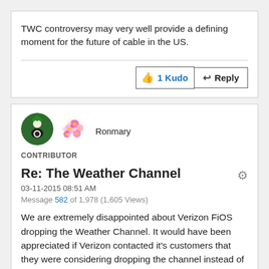TWC controversy may very well provide a defining moment for the future of cable in the US.
1 Kudo  Reply
[Figure (illustration): User avatar: circular icon with green background showing a figure, and pink flower decoration next to it]
Ronmary
CONTRIBUTOR
Re: The Weather Channel
03-11-2015 08:51 AM
Message 582 of 1,978 (1,605 Views)
We are extremely disappointed about Verizon FiOS dropping the Weather Channel. It would have been appreciated if Verizon contacted it's customers that they were considering dropping the channel instead of